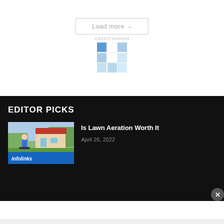Load more ∨
[Figure (other): Advertisement placeholder graphic with blue grid/checkerboard pattern and 'Advertisement' label]
EDITOR PICKS
[Figure (photo): Thumbnail image of a person in a yard with a house in background, with infolinks bar overlay]
Is Lawn Aeration Worth It
April 26, 2022